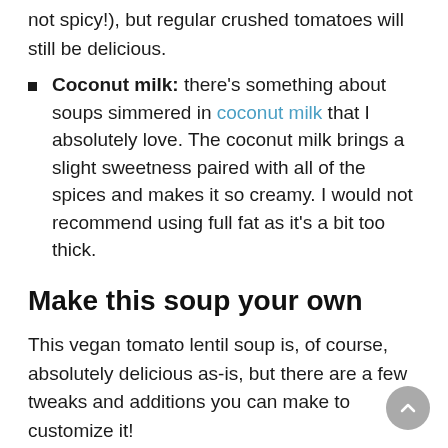not spicy!), but regular crushed tomatoes will still be delicious.
Coconut milk: there's something about soups simmered in coconut milk that I absolutely love. The coconut milk brings a slight sweetness paired with all of the spices and makes it so creamy. I would not recommend using full fat as it's a bit too thick.
Make this soup your own
This vegan tomato lentil soup is, of course, absolutely delicious as-is, but there are a few tweaks and additions you can make to customize it!
Boost the veggies. Feel free to stir in some spinach or kale for some greens